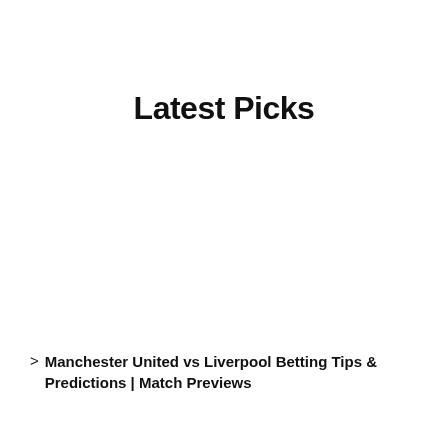Latest Picks
Manchester United vs Liverpool Betting Tips & Predictions | Match Previews